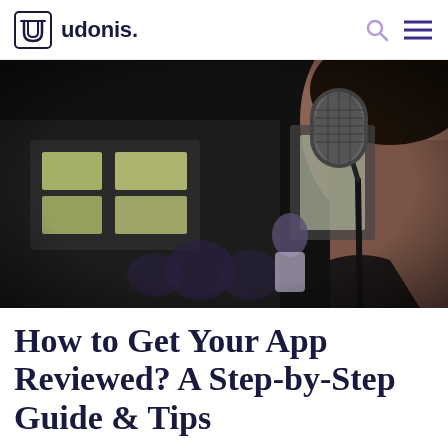udonis.
[Figure (photo): Person with back to camera speaking into a microphone at an event, dark blurred stage background with lights]
How to Get Your App Reviewed? A Step-by-Step Guide & Tips